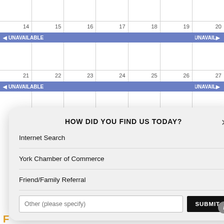[Figure (screenshot): Calendar view showing weeks of 14-20 and 21-27 with UNAVAILABLE bars spanning across days]
HOW DID YOU FIND US TODAY?
Internet Search
York Chamber of Commerce
Friend/Family Referral